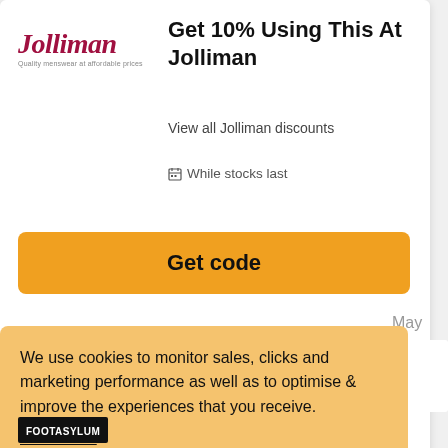[Figure (logo): Jolliman brand logo in italic crimson serif font with tagline]
Get 10% Using This At Jolliman
View all Jolliman discounts
While stocks last
Get code
We use cookies to monitor sales, clicks and marketing performance as well as to optimise & improve the experiences that you receive.
Learn more
GOT IT!
[Figure (logo): Footasylum logo — white text on black background]